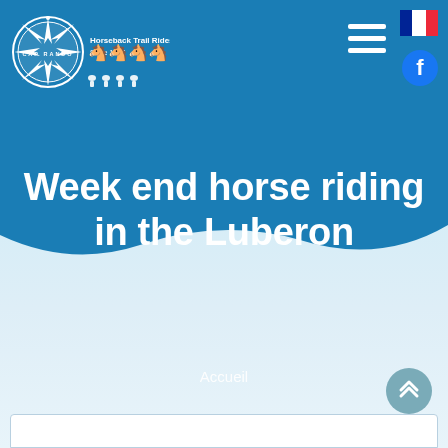[Figure (screenshot): Cap Rando logo with compass rose and horseback riders silhouettes, text 'Horseback Trail Rides Since 1987']
[Figure (logo): French flag icon in top right corner]
[Figure (infographic): Hamburger menu icon (three horizontal white lines)]
[Figure (logo): Facebook circular icon]
Week end horse riding in the Luberon
Accueil
[Figure (infographic): Scroll to top button with double chevron up arrow]